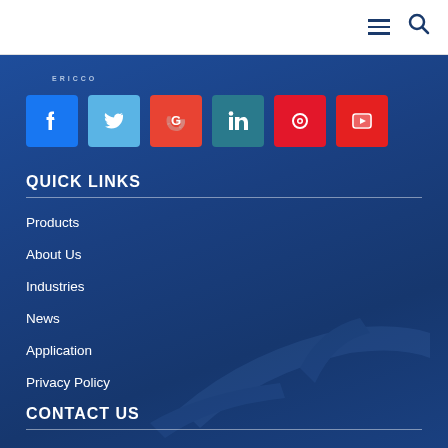Navigation bar with hamburger menu and search icon
[Figure (logo): ERICCO logo text in small caps]
[Figure (infographic): Social media icon buttons: Facebook (blue), Twitter (light blue), Google (red-orange), LinkedIn (teal), Pinterest (red), YouTube (red)]
QUICK LINKS
Products
About Us
Industries
News
Application
Privacy Policy
CONTACT US